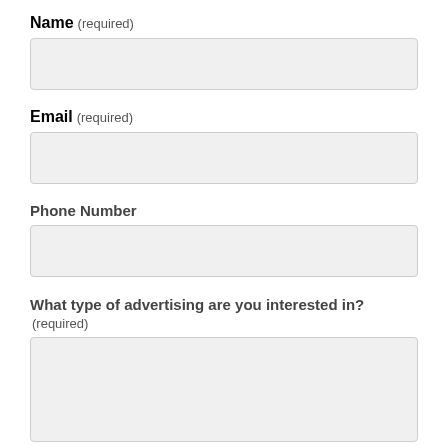Name (required)
[Figure (other): Empty text input field for Name]
Email (required)
[Figure (other): Empty text input field for Email]
Phone Number
[Figure (other): Empty text input field for Phone Number]
What type of advertising are you interested in? (required)
[Figure (other): Empty textarea for advertising type]